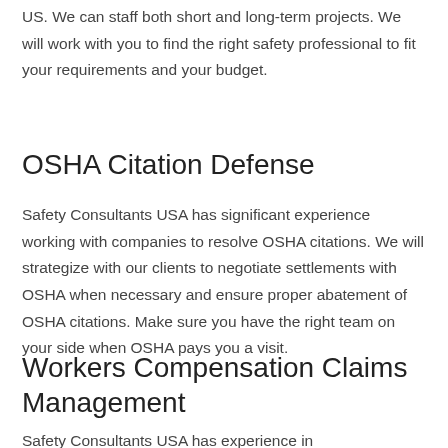US. We can staff both short and long-term projects. We will work with you to find the right safety professional to fit your requirements and your budget.
OSHA Citation Defense
Safety Consultants USA has significant experience working with companies to resolve OSHA citations. We will strategize with our clients to negotiate settlements with OSHA when necessary and ensure proper abatement of OSHA citations. Make sure you have the right team on your side when OSHA pays you a visit.
Workers Compensation Claims Management
Safety Consultants USA has experience in